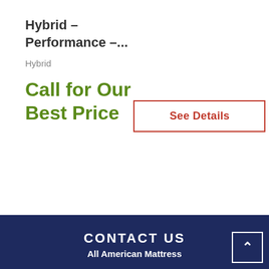Hybrid – Performance –...
Hybrid
Call for Our Best Price
See Details
CONTACT US
All American Mattress